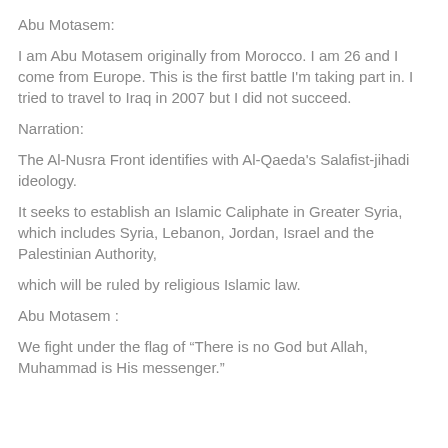Abu Motasem:
I am Abu Motasem originally from Morocco. I am 26 and I come from Europe. This is the first battle I'm taking part in. I tried to travel to Iraq in 2007 but I did not succeed.
Narration:
The Al-Nusra Front identifies with Al-Qaeda's Salafist-jihadi ideology.
It seeks to establish an Islamic Caliphate in Greater Syria, which includes Syria, Lebanon, Jordan, Israel and the Palestinian Authority,
which will be ruled by religious Islamic law.
Abu Motasem :
We fight under the flag of “There is no God but Allah, Muhammad is His messenger.”